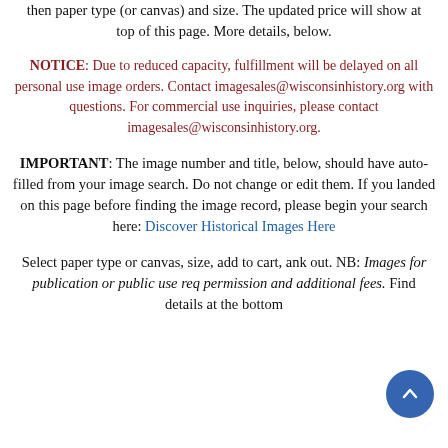then paper type (or canvas) and size. The updated price will show at top of this page. More details, below.
NOTICE: Due to reduced capacity, fulfillment will be delayed on all personal use image orders. Contact imagesales@wisconsinhistory.org with questions. For commercial use inquiries, please contact imagesales@wisconsinhistory.org.
IMPORTANT: The image number and title, below, should have auto-filled from your image search. Do not change or edit them. If you landed on this page before finding the image record, please begin your search here: Discover Historical Images Here
Select paper type or canvas, size, add to cart, and check out. NB: Images for publication or public use require permission and additional fees. Find details at the bottom